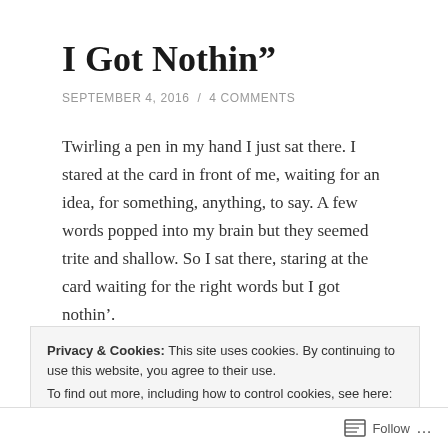I Got Nothin”
SEPTEMBER 4, 2016  /  4 COMMENTS
Twirling a pen in my hand I just sat there. I stared at the card in front of me, waiting for an idea, for something, anything, to say. A few words popped into my brain but they seemed trite and shallow. So I sat there, staring at the card waiting for the right words but I got nothin’.
Over the past couple of weeks I have had to sign way
Privacy & Cookies: This site uses cookies. By continuing to use this website, you agree to their use.
To find out more, including how to control cookies, see here: Cookie Policy
Close and accept
Follow